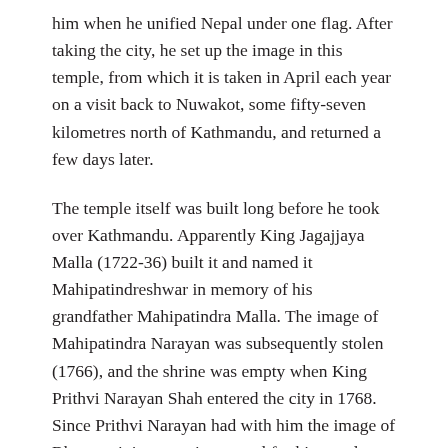him when he unified Nepal under one flag. After taking the city, he set up the image in this temple, from which it is taken in April each year on a visit back to Nuwakot, some fifty-seven kilometres north of Kathmandu, and returned a few days later.
The temple itself was built long before he took over Kathmandu. Apparently King Jagajjaya Malla (1722-36) built it and named it Mahipatindreshwar in memory of his grandfather Mahipatindra Malla. The image of Mahipatindra Narayan was subsequently stolen (1766), and the shrine was empty when King Prithvi Narayan Shah entered the city in 1768. Since Prithvi Narayan had with him the image of Bhagavati, it was quite normal for him to place it in this empty sanctuary close to the Palace.